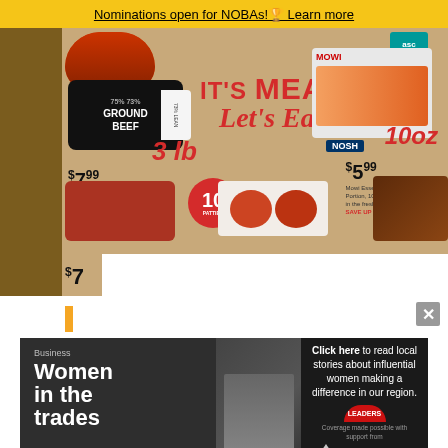Nominations open for NOBAs! Learn more
[Figure (photo): Grocery store promotional flyer showing meat and seafood deals. Left side shows Ground Beef 3lb for $7.99 with a burger image. Center shows 'IT'S MEAT! Let's Eat!' headline text. Right side shows Mowi Essential Atlantic Salmon Portions 10oz for $5.99. Bottom shows 10-burger pack with Grass Fed label. White modal overlay partially covers lower portion.]
[Figure (photo): Advertisement banner for 'Business Women in the trades' feature with a photo of a woman working. Right side shows 'Click here to read local stories about influential women making a difference in our region. Coverage made possible with support from Leaders and Sioux Lookout Municipal Airport.']